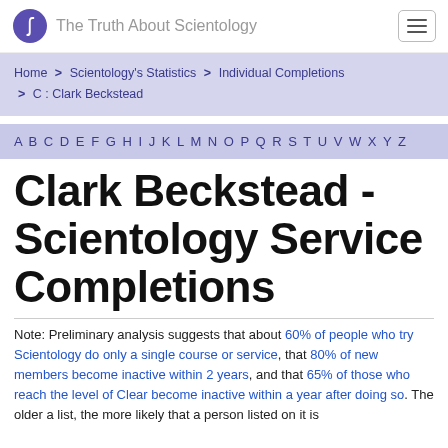The Truth About Scientology
Home > Scientology's Statistics > Individual Completions > C : Clark Beckstead
A B C D E F G H I J K L M N O P Q R S T U V W X Y Z
Clark Beckstead - Scientology Service Completions
Note: Preliminary analysis suggests that about 60% of people who try Scientology do only a single course or service, that 80% of new members become inactive within 2 years, and that 65% of those who reach the level of Clear become inactive within a year after doing so. The older a list, the more likely that a person listed on it is